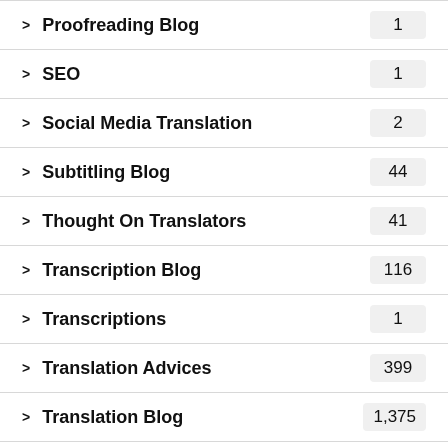> Proofreading Blog  1
> SEO  1
> Social Media Translation  2
> Subtitling Blog  44
> Thought On Translators  41
> Transcription Blog  116
> Transcriptions  1
> Translation Advices  399
> Translation Blog  1,375